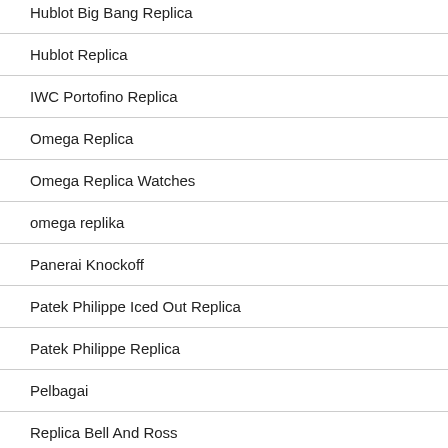Hublot Big Bang Replica
Hublot Replica
IWC Portofino Replica
Omega Replica
Omega Replica Watches
omega replika
Panerai Knockoff
Patek Philippe Iced Out Replica
Patek Philippe Replica
Pelbagai
Replica Bell And Ross
Replica Montblanc Watch